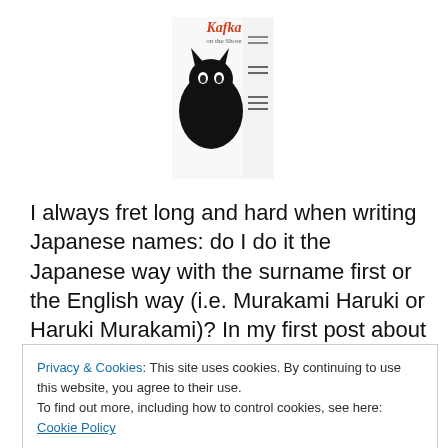[Figure (illustration): Book cover of 'Kafka on the Shore' showing a black cat and the title text in red/orange on a white background with some text lines on the right side.]
I always fret long and hard when writing Japanese names: do I do it the Japanese way with the surname first or the English way (i.e. Murakami Haruki or Haruki Murakami)? In my first post about Japanese authors I did it the Japanese way but as I blogged on I've switched back to the English. What to do? I guess my western education has come through and won. So, I think I'll just go with the
Privacy & Cookies: This site uses cookies. By continuing to use this website, you agree to their use.
To find out more, including how to control cookies, see here: Cookie Policy
Close and accept